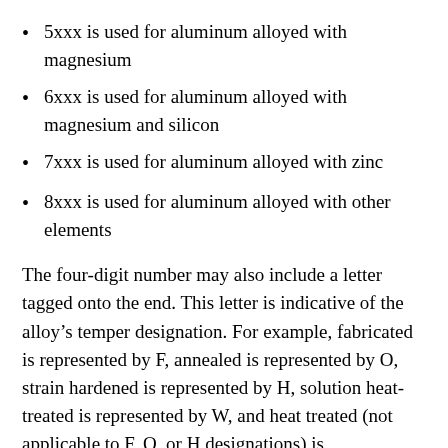5xxx is used for aluminum alloyed with magnesium
6xxx is used for aluminum alloyed with magnesium and silicon
7xxx is used for aluminum alloyed with zinc
8xxx is used for aluminum alloyed with other elements
The four-digit number may also include a letter tagged onto the end. This letter is indicative of the alloy’s temper designation. For example, fabricated is represented by F, annealed is represented by O, strain hardened is represented by H, solution heat-treated is represented by W, and heat treated (not applicable to F, O, or H designations) is